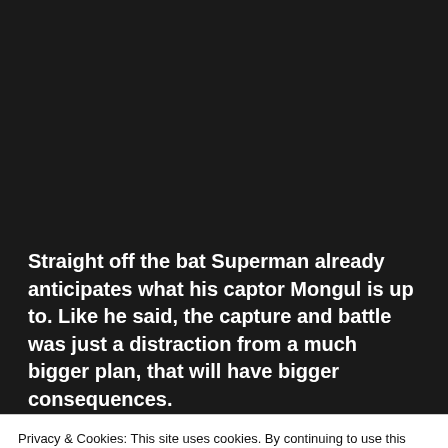[Figure (photo): Dark black area at the top of the page, representing an image placeholder or a dark image]
Straight off the bat Superman already anticipates what his captor Mongul is up to. Like he said, the capture and battle was just a distraction from a much bigger plan, that will have bigger consequences.
Privacy & Cookies: This site uses cookies. By continuing to use this website, you agree to their use.
To find out more, including how to control cookies, see here: Cookie Policy
Close and accept
specifically on Earth. Because Superman is so